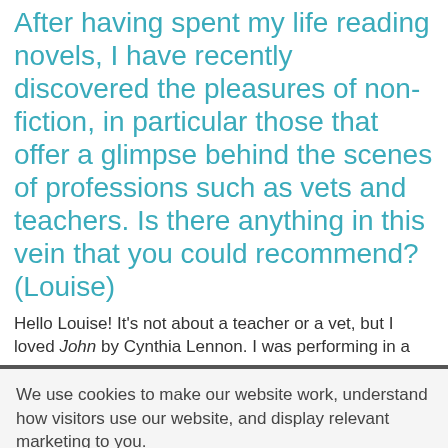After having spent my life reading novels, I have recently discovered the pleasures of non-fiction, in particular those that offer a glimpse behind the scenes of professions such as vets and teachers. Is there anything in this vein that you could recommend? (Louise)
Hello Louise! It's not about a teacher or a vet, but I loved John by Cynthia Lennon. I was performing in a
We use cookies to make our website work, understand how visitors use our website, and display relevant marketing to you.
Accept all cookies
Manage cookies